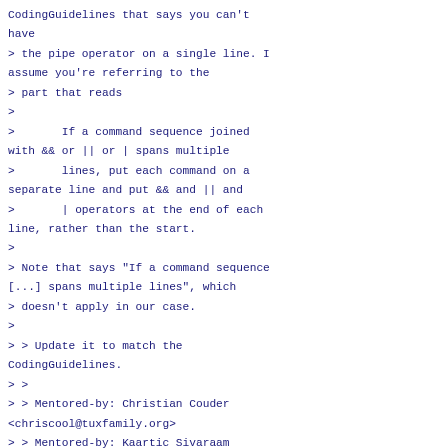CodingGuidelines that says you can't have
> the pipe operator on a single line. I assume you're referring to the
> part that reads
>
>       If a command sequence joined with && or || or | spans multiple
>       lines, put each command on a separate line and put && and || and
>       | operators at the end of each line, rather than the start.
>
> Note that says "If a command sequence [...] spans multiple lines", which
> doesn't apply in our case.
>
> > Update it to match the CodingGuidelines.
> >
> > Mentored-by: Christian Couder <chriscool@tuxfamily.org>
> > Mentored-by: Kaartic Sivaraam <kaartic.sivaraam@gmail.com>
> > Signed-off-by: Shourya Shukla <shouryashukla.oo@gmail.com>
> > ---
> >  t/t7401-submodule-summary.sh | 8 ++++----
> >  1 file changed, 5 insertions(+), 3 deletions(-)